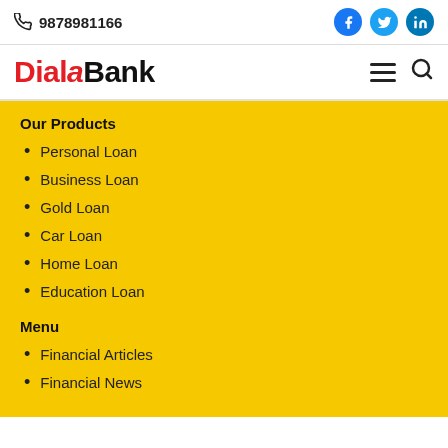9878981166
[Figure (logo): DialaBank logo with red 'Diala' and black 'Bank' text]
Our Products
Personal Loan
Business Loan
Gold Loan
Car Loan
Home Loan
Education Loan
Menu
Financial Articles
Financial News